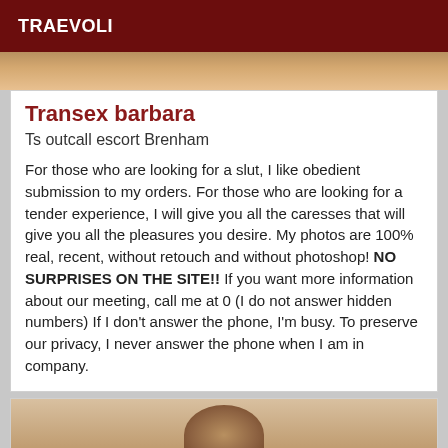TRAEVOLI
[Figure (photo): Partial photo of a person, cropped, top portion visible]
Transex barbara
Ts outcall escort Brenham
For those who are looking for a slut, I like obedient submission to my orders. For those who are looking for a tender experience, I will give you all the caresses that will give you all the pleasures you desire. My photos are 100% real, recent, without retouch and without photoshop! NO SURPRISES ON THE SITE!! If you want more information about our meeting, call me at 0 (I do not answer hidden numbers) If I don't answer the phone, I'm busy. To preserve our privacy, I never answer the phone when I am in company.
[Figure (photo): Partial photo of a person with reddish-brown hair, bottom portion of page]